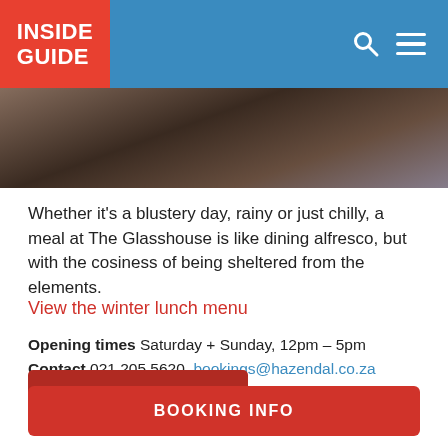INSIDE GUIDE
[Figure (photo): Close-up photo of a person dining, dark toned image]
Whether it's a blustery day, rainy or just chilly, a meal at The Glasshouse is like dining alfresco, but with the cosiness of being sheltered from the elements.
View the winter lunch menu
Opening times Saturday + Sunday, 12pm – 5pm
Contact 021 205 5620, bookings@hazendal.co.za
Address Hazendal Wine Estate, Ronelle Street (via Kruis Street), off Bottelary Road (M23), Stellenbosch
BOOKING INFO